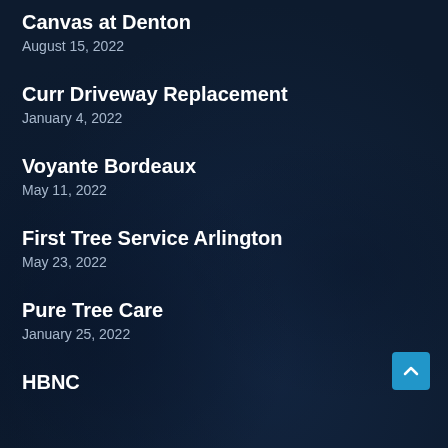Canvas at Denton
August 15, 2022
Curr Driveway Replacement
January 4, 2022
Voyante Bordeaux
May 11, 2022
First Tree Service Arlington
May 23, 2022
Pure Tree Care
January 25, 2022
HBNC